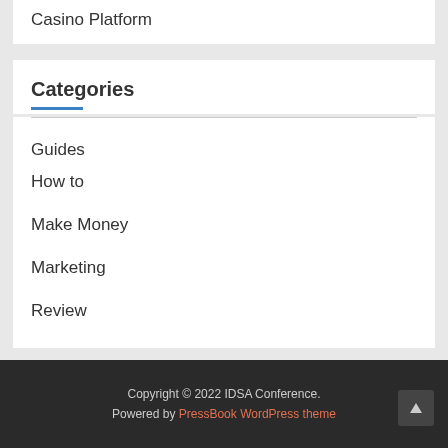Casino Platform
Categories
Guides
How to
Make Money
Marketing
Review
Copyright © 2022 IDSA Conference. Powered by PressBook WordPress theme